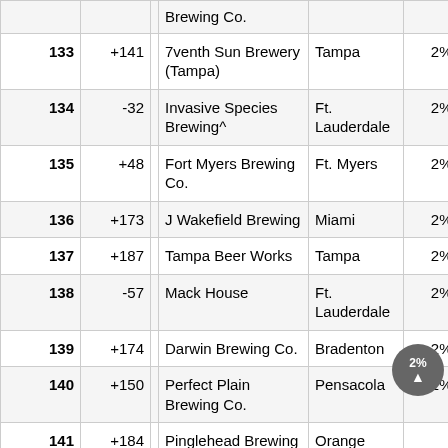| Rank | Change |  | Brewery | City | Score |
| --- | --- | --- | --- | --- | --- |
|  |  |  | Brewing Co. |  |  |
| 133 | +141 |  | 7venth Sun Brewery (Tampa) | Tampa | 2% |
| 134 | -32 |  | Invasive Species Brewing^ | Ft. Lauderdale | 2% |
| 135 | +48 |  | Fort Myers Brewing Co. | Ft. Myers | 2% |
| 136 | +173 |  | J Wakefield Brewing | Miami | 2% |
| 137 | +187 |  | Tampa Beer Works | Tampa | 2% |
| 138 | -57 |  | Mack House | Ft. Lauderdale | 2% |
| 139 | +174 |  | Darwin Brewing Co. | Bradenton | 2% |
| 140 | +150 |  | Perfect Plain Brewing Co. | Pensacola | 2% |
| 141 | +184 |  | Pinglehead Brewing Company | Orange Park | 2% |
| 142 | +10 |  | Point Ybor... | Ft. My... | 2% |